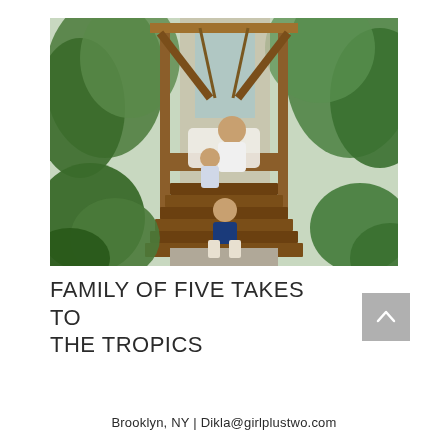[Figure (photo): A woman with two children sitting on wooden steps of a tropical dwelling surrounded by lush green palm trees and tropical foliage. A young child in a navy shirt sits on the lower steps, while the woman and older child sit above on a landing with a hammock visible in the background.]
FAMILY OF FIVE TAKES TO THE TROPICS
Brooklyn, NY | Dikla@girlplustwo.com